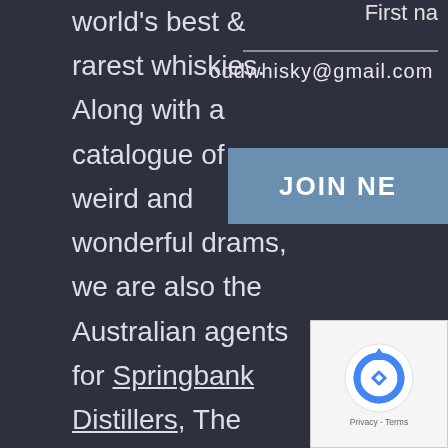First na
oddwhisky@gmail.com
JOIN NE
world's best & rarest whiskies. Along with a catalogue of weird and wonderful drams, we are also the Australian agents for Springbank Distillers, The Firkin Whisky Company, Blackadder Distillery and Cadenhead Distillers
[Figure (logo): reCAPTCHA logo with blue circular arrows icon, and Privacy - Terms text below]